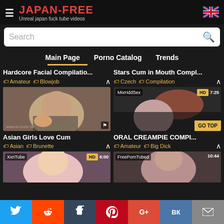JAPAN-FREE - Unreal japan fuck tube videos
Search
Main Page | Porno Catalog | Trends
Hardcore Facial Compilatio...
Stars Cum in Mouth Compl...
Amateur | Blowjob
Czech | Compilation
[Figure (screenshot): Video thumbnail: PorniSex HD 2:20 - Asian woman smiling]
[Figure (screenshot): Video thumbnail: MixHddSex HD 7:25 - oral sex scene]
Asian Girls Love Cum
ORAL CREAMPIE COMPI...
Asian | Brunette
Amateur | Big Dick
[Figure (screenshot): Video thumbnail: XxnTube HD 6:00 - partial view]
[Figure (screenshot): Video thumbnail: FreePornTubed 10:44 - partial view]
Twitter | Reddit | Tumblr | Pinterest | G+ | VK | Email